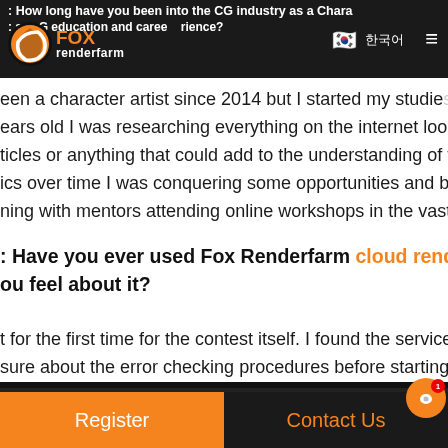Q: How long have you been into the CG industry as a Character artist and about your CG education and career experience?
[Figure (logo): Fox Renderfarm logo with orange circle and white swirl, orange FOX text, white renderfarm text]
been a character artist since 2014 but I started my studies years old I was researching everything on the internet looking ticles or anything that could add to the understanding of the ics over time I was conquering some opportunities and be ning with mentors attending online workshops in the vast
Q: Have you ever used Fox Renderfarm cloud rendering serv ou feel about it?
t for the first time for the contest itself. I found the service sure about the error checking procedures before starting t
Register | Contact Us